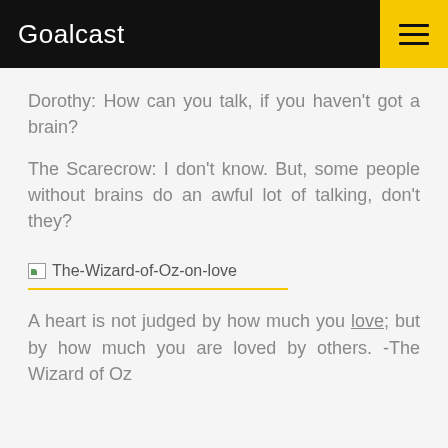Goalcast
Dorothy: How can you talk, if you haven't got a brain?
The Scarecrow: I don't know. But, some people without brains do an awful lot of talking, don't they?
[Figure (illustration): Broken image placeholder with alt text 'The-Wizard-of-Oz-on-love']
A heart is not judged by how much you love; but by how much you are loved by others. -The Wizard of Oz